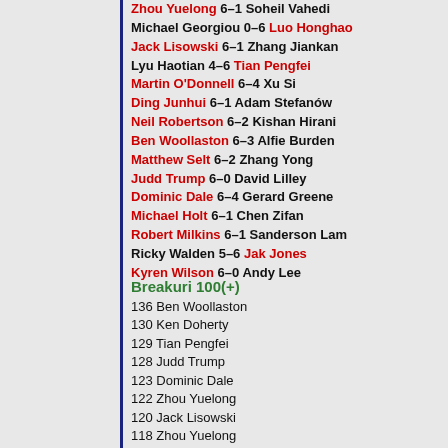Zhou Yuelong 6–1 Soheil Vahedi
Michael Georgiou 0–6 Luo Honghao
Jack Lisowski 6–1 Zhang Jiankan
Lyu Haotian 4–6 Tian Pengfei
Martin O'Donnell 6–4 Xu Si
Ding Junhui 6–1 Adam Stefanów
Neil Robertson 6–2 Kishan Hirani
Ben Woollaston 6–3 Alfie Burden
Matthew Selt 6–2 Zhang Yong
Judd Trump 6–0 David Lilley
Dominic Dale 6–4 Gerard Greene
Michael Holt 6–1 Chen Zifan
Robert Milkins 6–1 Sanderson Lam
Ricky Walden 5–6 Jak Jones
Kyren Wilson 6–0 Andy Lee
Breakuri 100(+)
136 Ben Woollaston
130 Ken Doherty
129 Tian Pengfei
128 Judd Trump
123 Dominic Dale
122 Zhou Yuelong
120 Jack Lisowski
118 Zhou Yuelong
115 Jack Lisowski